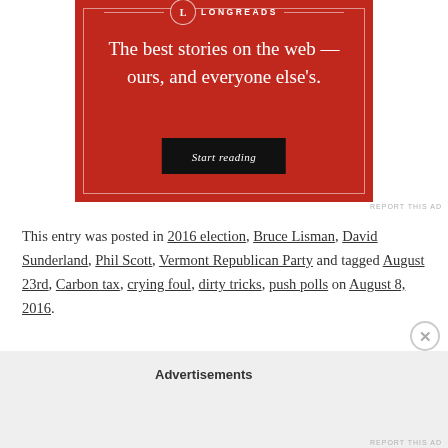[Figure (other): Longreads advertisement banner with red background. Text reads: 'The best stories on the web — ours, and everyone else's.' with a 'Start reading' button.]
REPORT THIS AD
This entry was posted in 2016 election, Bruce Lisman, David Sunderland, Phil Scott, Vermont Republican Party and tagged August 23rd, Carbon tax, crying foul, dirty tricks, push polls on August 8, 2016.
Advertisements
REPORT THIS AD